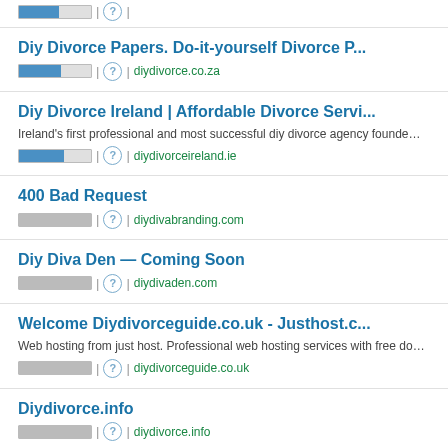Diy Divorce Papers. Do-it-yourself Divorce P... | diydivorce.co.za
Diy Divorce Ireland | Affordable Divorce Servi... | Ireland's first professional and most successful diy divorce agency founde… | diydivorceireland.ie
400 Bad Request | diydivabranding.com
Diy Diva Den — Coming Soon | diydivaden.com
Welcome Diydivorceguide.co.uk - Justhost.c... | Web hosting from just host. Professional web hosting services with free do… | diydivorceguide.co.uk
Diydivorce.info | diydivorce.info
Diy...